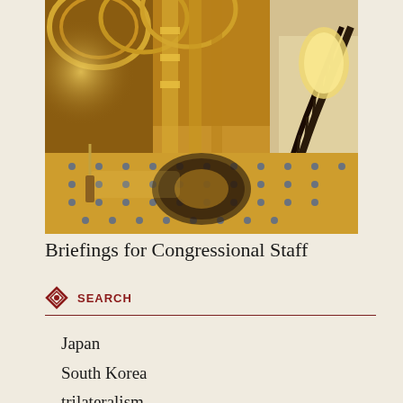[Figure (photo): Interior hallway of the U.S. Capitol building showing ornate golden arched ceilings, decorative tiled floors with mosaic medallion, marble columns, and an ornate iron staircase railing on the right side, warmly lit.]
Briefings for Congressional Staff
SEARCH
Japan
South Korea
trilateralism